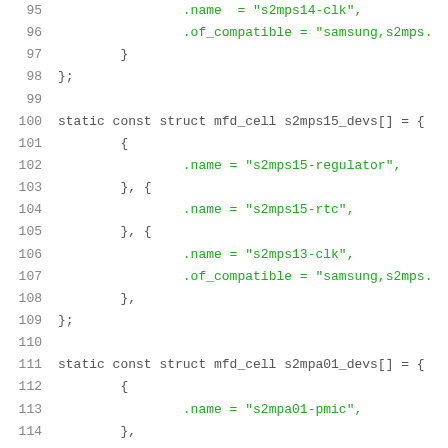Source code listing lines 95-116 showing C struct definitions for s2mps15_devs and s2mpa01_devs mfd_cell arrays